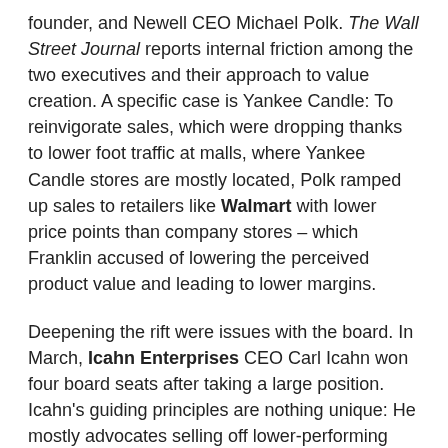founder, and Newell CEO Michael Polk. The Wall Street Journal reports internal friction among the two executives and their approach to value creation. A specific case is Yankee Candle: To reinvigorate sales, which were dropping thanks to lower foot traffic at malls, where Yankee Candle stores are mostly located, Polk ramped up sales to retailers like Walmart with lower price points than company stores – which Franklin accused of lowering the perceived product value and leading to lower margins.
Deepening the rift were issues with the board. In March, Icahn Enterprises CEO Carl Icahn won four board seats after taking a large position. Icahn's guiding principles are nothing unique: He mostly advocates selling off lower-performing assets and distributing funds to shareholders. Icahn's ideas were broadly accepted by current management, as they'd already planned to sell off approximately 35% of the company under its Accelerated Transformation Plan, including the recently announced Waddington Group brand divestiture.